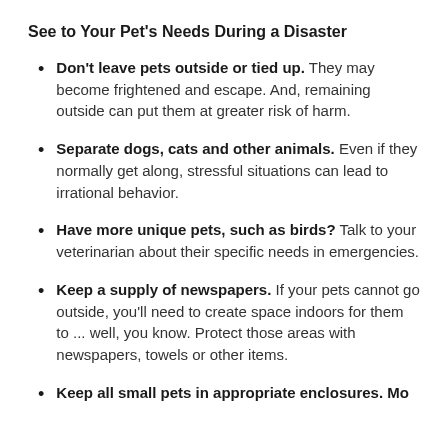See to Your Pet's Needs During a Disaster
Don't leave pets outside or tied up. They may become frightened and escape. And, remaining outside can put them at greater risk of harm.
Separate dogs, cats and other animals. Even if they normally get along, stressful situations can lead to irrational behavior.
Have more unique pets, such as birds? Talk to your veterinarian about their specific needs in emergencies.
Keep a supply of newspapers. If your pets cannot go outside, you'll need to create space indoors for them to ... well, you know. Protect those areas with newspapers, towels or other items.
Keep all small pets in appropriate enclosures. Move...